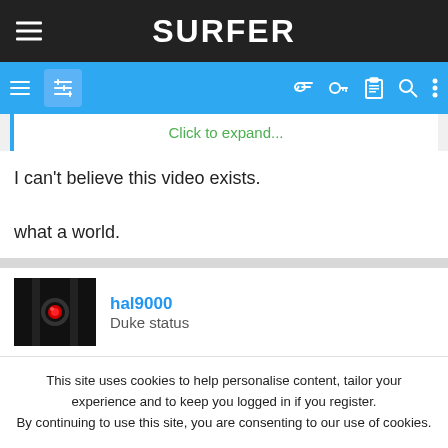SURFER
Click to expand...
I can't believe this video exists.

what a world.
hal9000
Duke status
This site uses cookies to help personalise content, tailor your experience and to keep you logged in if you register.
By continuing to use this site, you are consenting to our use of cookies.
ACCEPT   LEARN MORE...